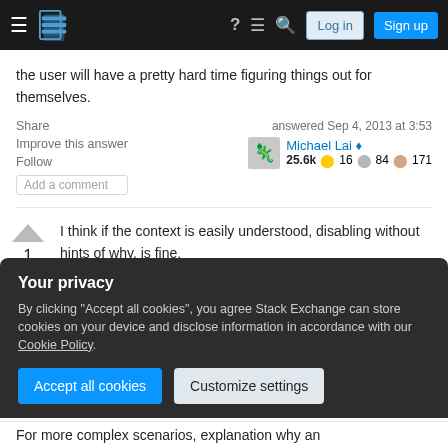Stack Exchange navigation bar with Log in and Sign up buttons
the user will have a pretty hard time figuring things out for themselves.
Share   Improve this answer   Follow   Add a comment
answered Sep 4, 2013 at 3:53
Michael Lai ♦
25.6k  16  84  171
I think if the context is easily understood, disabling without hints of why, is fine.
Your privacy
By clicking "Accept all cookies", you agree Stack Exchange can store cookies on your device and disclose information in accordance with our Cookie Policy.
Accept all cookies   Customize settings
For more complex scenarios, explanation why an